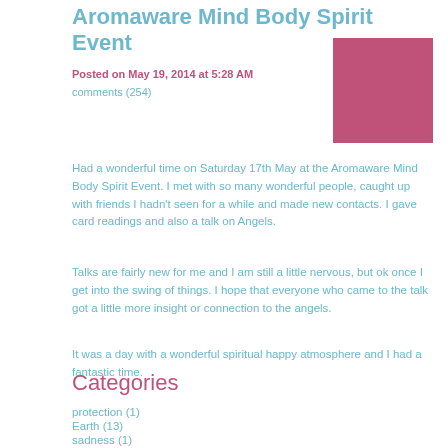Aromaware Mind Body Spirit Event
Posted on May 19, 2014 at 5:28 AM
comments (254)
[Figure (photo): A pink/mauve colored square image placeholder]
Had a wonderful time on Saturday 17th May at the Aromaware Mind Body Spirit Event.  I met with so many wonderful people, caught up with friends I hadn't seen for a while and  made new contacts.  I gave card readings and also a talk on Angels.
Talks are fairly new for me and I am still a little nervous, but ok once I get into the swing of things. I hope that everyone who came to the talk got a little more insight or connection to the angels.
It was a day with a wonderful spiritual happy atmosphere and I had a fantastic time.
Categories
protection (1)
Earth (13)
sadness (1)